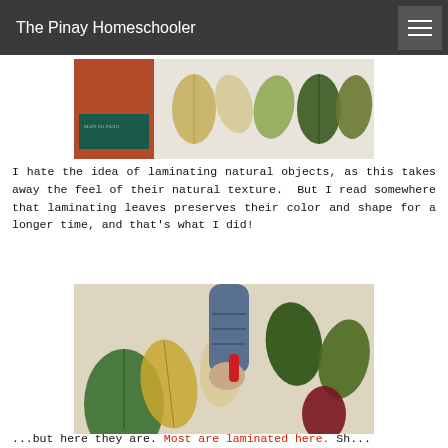The Pinay Homeschooler
[Figure (photo): Top portion of a photo showing several leaves of various colors arranged on a white surface, with a book cover visible on the left side reading 'Mary Da Prato']
I hate the idea of laminating natural objects, as this takes away the feel of their natural texture.  But I read somewhere that laminating leaves preserves their color and shape for a longer time, and that's what I did!
[Figure (photo): A child's hand reaching over a collection of leaves of various colors (green, yellow, dark red) arranged on a light surface]
...but here they are. Most are laminated here. Sh...